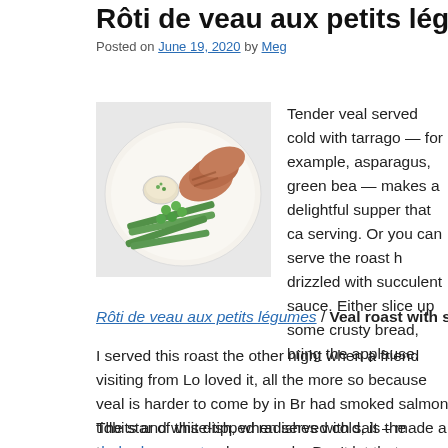Rôti de veau aux petits légumes
Posted on June 19, 2020 by Meg
[Figure (photo): A white plate with sliced roasted veal, green beans, peas, and a small bowl of tarragon mayonnaise]
Tender veal served cold with tarrago — for example, asparagus, green bea — makes a delightful supper that ca serving. Or you can serve the roast h drizzled with succulent sauce. Either slice up some crusty bread, bring the applause.
Rôti de veau aux petits légumes / Veal roast with seasonal vegg
I served this roast the other night when a friend visiting from Lo loved it, all the more so because veal is harder to come by in Br had smoked salmon tidbits and white-tipped radishes with salt – made a rhubarb compote.
The star of this dish, when served cold, is the tarragon mayonna homemade. Don't let that scare you, I generally make homema